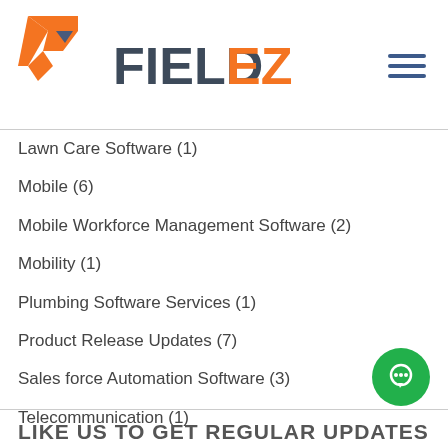[Figure (logo): FieldEz logo with orange chevron/arrow icon and dark gray text 'FIELDEZ']
Lawn Care Software (1)
Mobile (6)
Mobile Workforce Management Software (2)
Mobility (1)
Plumbing Software Services (1)
Product Release Updates (7)
Sales force Automation Software (3)
Telecommunication (1)
Uncategorized (6)
Videos (3)
Work Order Management (5)
LIKE US TO GET REGULAR UPDATES